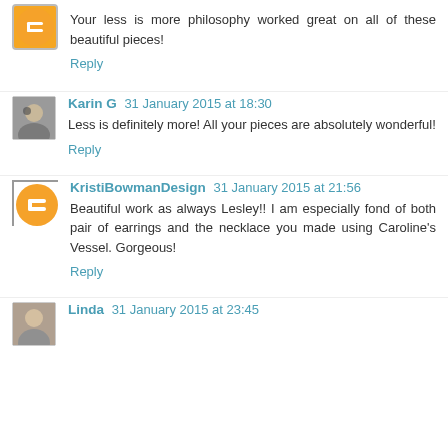Your less is more philosophy worked great on all of these beautiful pieces!
Reply
Karin G 31 January 2015 at 18:30
Less is definitely more! All your pieces are absolutely wonderful!
Reply
KristiBowmanDesign 31 January 2015 at 21:56
Beautiful work as always Lesley!! I am especially fond of both pair of earrings and the necklace you made using Caroline's Vessel. Gorgeous!
Reply
Linda 31 January 2015 at 23:45